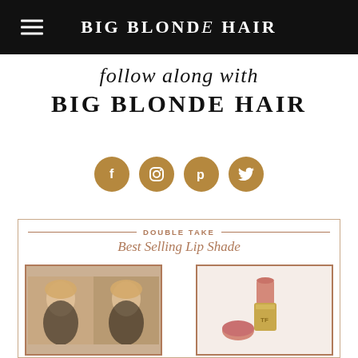BIG BLONDE HAIR
follow along with
BIG BLONDE HAIR
[Figure (infographic): Four gold circular social media icons: Facebook (f), Instagram, Pinterest (p), Twitter bird logo]
[Figure (infographic): Product promotional card with 'DOUBLE TAKE' header and script text 'Best Selling Lip Shade'. Left section shows a woman applying lipstick (two frames). Right section shows a pink lipstick product with gold tube and a pink lipstick swatch disc.]